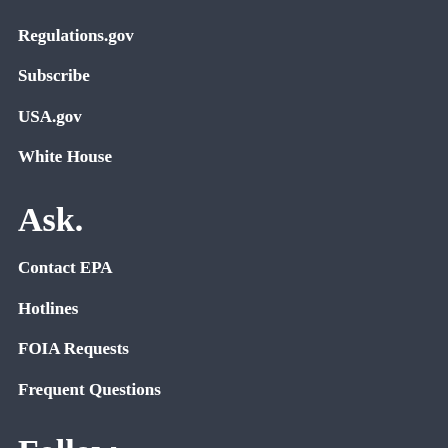Regulations.gov
Subscribe
USA.gov
White House
Ask.
Contact EPA
Hotlines
FOIA Requests
Frequent Questions
Follow